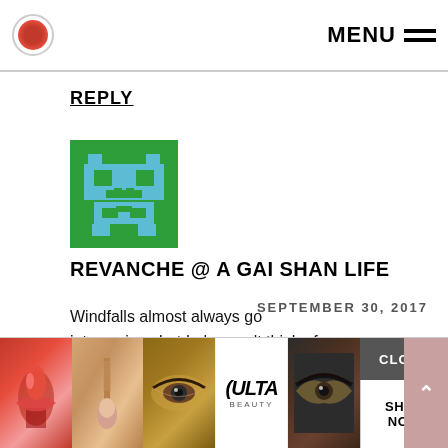MENU
REPLY
[Figure (illustration): Green pixel art avatar icon resembling a retro space invader character with blue pixel details on a green background]
REVANCHE @ A GAI SHAN LIFE
SEPTEMBER 30, 2017
Windfalls almost always go into savings but I also can't think of any windfalls we've come across so that might be purely academic.
I S... and I remain horrible with colors
[Figure (photo): Advertisement banner showing makeup products and models with ULTA branding, CLOSE button, SHOP NOW button, and scroll arrow]